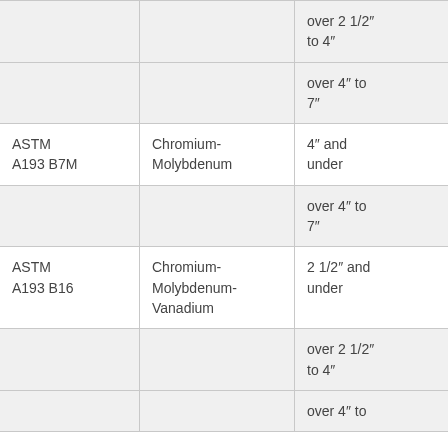| Specification | Material | Diameter | Tensile Strength (ksi) | ... |
| --- | --- | --- | --- | --- |
|  |  | over 2 1/2" to 4" | 115 | 9... |
|  |  | over 4" to 7" | 100 | 7... |
| ASTM A193 B7M | Chromium-Molybdenum | 4" and under | 100 | 8... |
|  |  | over 4" to 7" | 100 | 7... |
| ASTM A193 B16 | Chromium-Molybdenum-Vanadium | 2 1/2" and under | 125 | 1... |
|  |  | over 2 1/2" to 4" | 110 | 9... |
|  |  | over 4" to | 100 | 8... |